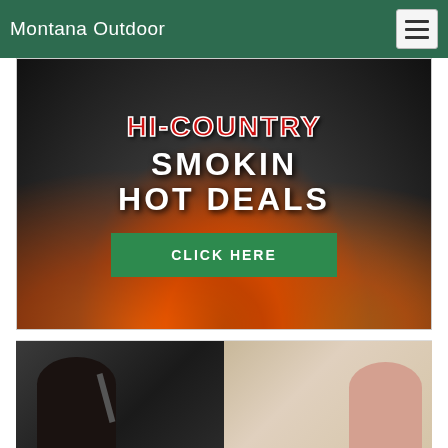Montana Outdoor
[Figure (photo): Hi-Country advertisement banner with dark smoky background and flames showing text 'HI-COUNTRY SMOKIN HOT DEALS' with a green CLICK HERE button]
[Figure (photo): Photo of two people, one shown from behind holding what appears to be a tool or pipe, and another person visible through a doorway]